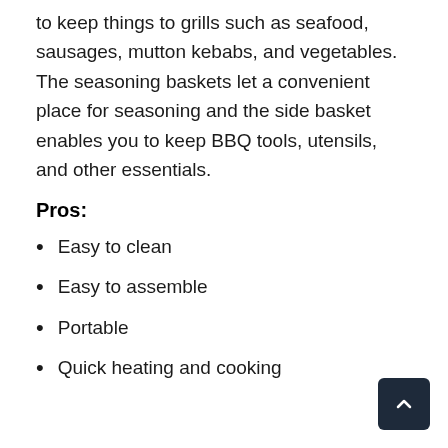to keep things to grills such as seafood, sausages, mutton kebabs, and vegetables. The seasoning baskets let a convenient place for seasoning and the side basket enables you to keep BBQ tools, utensils, and other essentials.
Pros:
Easy to clean
Easy to assemble
Portable
Quick heating and cooking